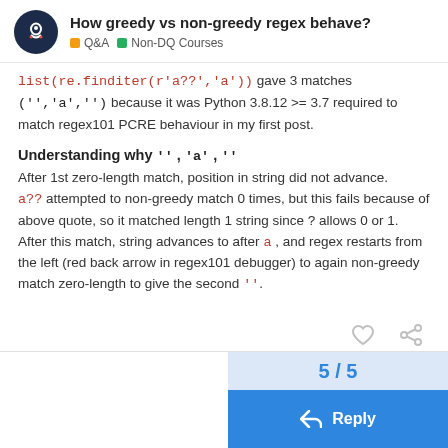How greedy vs non-greedy regex behave? | Q&A | Non-DQ Courses
list(re.finditer(r'a??','a')) gave 3 matches ('','a','') because it was Python 3.8.12 >= 3.7 required to match regex101 PCRE behaviour in my first post.
Understanding why ' ' , 'a' , ' '
After 1st zero-length match, position in string did not advance. a?? attempted to non-greedy match 0 times, but this fails because of above quote, so it matched length 1 string since ? allows 0 or 1.
After this match, string advances to after a , and regex restarts from the left (red back arrow in regex101 debugger) to again non-greedy match zero-length to give the second ''.
5 / 5